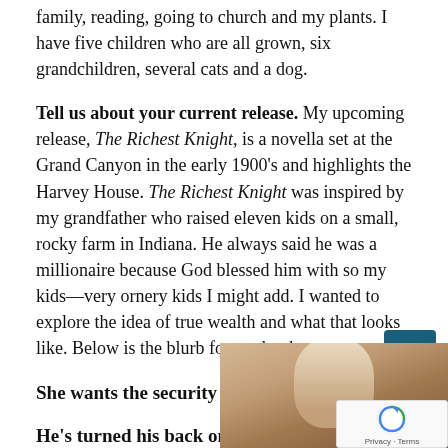family, reading, going to church and my plants. I have five children who are all grown, six grandchildren, several cats and a dog.
Tell us about your current release. My upcoming release, The Richest Knight, is a novella set at the Grand Canyon in the early 1900's and highlights the Harvey House. The Richest Knight was inspired by my grandfather who raised eleven kids on a small, rocky farm in Indiana. He always said he was a millionaire because God blessed him with so my kids—very ornery kids I might add. I wanted to explore the idea of true wealth and what that looks like. Below is the blurb for my book.
She wants the security of riches.
He's turned his back on the demands of wealth.
[Figure (photo): Partial photo of a person's head/hair visible at the bottom right of the page]